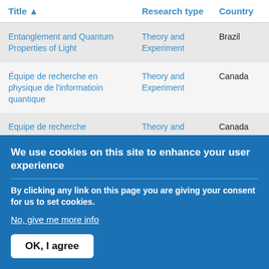| Title ▲ | Research type | Country |
| --- | --- | --- |
| Entanglement and Quantum Properties of Light | Theory and Experiment | Brazil |
| Équipe de recherche en physique de l'informatioin quantique | Theory and Experiment | Canada |
| Equipe de recherche | Theory and | Canada |
We use cookies on this site to enhance your user experience
By clicking any link on this page you are giving your consent for us to set cookies.
No, give me more info
OK, I agree